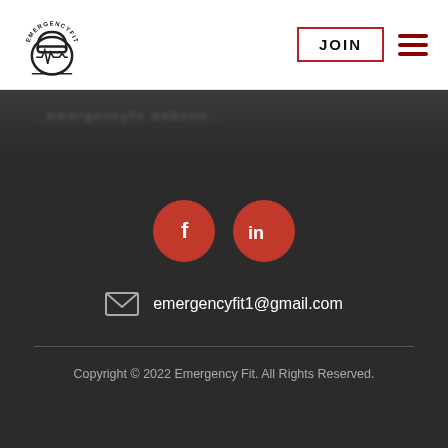[Figure (logo): EmergencyFit logo with kettlebell and heartbeat line, circular text reading EMERGENCYFIT]
JOIN
[Figure (other): Hamburger menu icon with three red horizontal lines]
[Figure (photo): Dark background image band with blurred content]
[Figure (other): Facebook and LinkedIn social media icons as red circles with white letters f and in]
emergencyfit1@gmail.com
Copyright © 2022 Emergency Fit. All Rights Reserved.